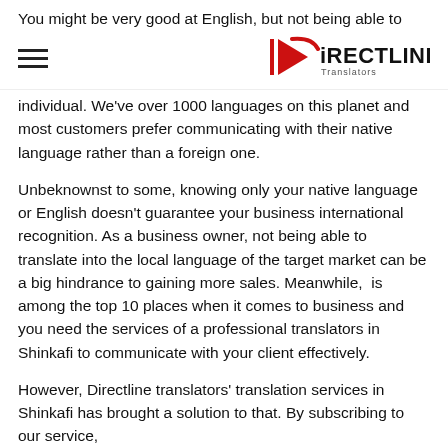You might be very good at English, but not being able to
[hamburger menu] [DirectLine Translators logo]
individual. We've over 1000 languages on this planet and most customers prefer communicating with their native language rather than a foreign one.
Unbeknownst to some, knowing only your native language or English doesn't guarantee your business international recognition. As a business owner, not being able to translate into the local language of the target market can be a big hindrance to gaining more sales. Meanwhile,  is among the top 10 places when it comes to business and you need the services of a professional translators in Shinkafi to communicate with your client effectively.
However, Directline translators' translation services in Shinkafi has brought a solution to that. By subscribing to our service,